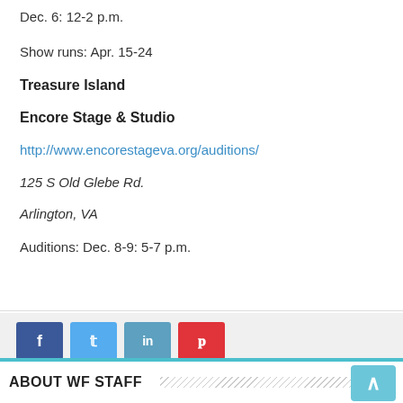Dec. 6: 12-2 p.m.
Show runs: Apr. 15-24
Treasure Island
Encore Stage & Studio
http://www.encorestageva.org/auditions/
125 S Old Glebe Rd.
Arlington, VA
Auditions: Dec. 8-9: 5-7 p.m.
[Figure (other): Social media share buttons: Facebook, Twitter, LinkedIn, Pinterest]
ABOUT WF STAFF